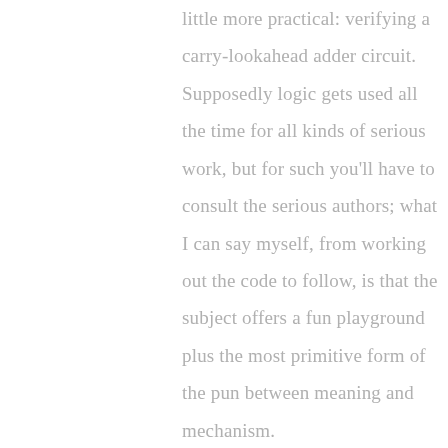little more practical: verifying a carry-lookahead adder circuit. Supposedly logic gets used all the time for all kinds of serious work, but for such you'll have to consult the serious authors; what I can say myself, from working out the code to follow, is that the subject offers a fun playground plus the most primitive form of the pun between meaning and mechanism.

You're encouraged to read with this article's code cloned and ready.